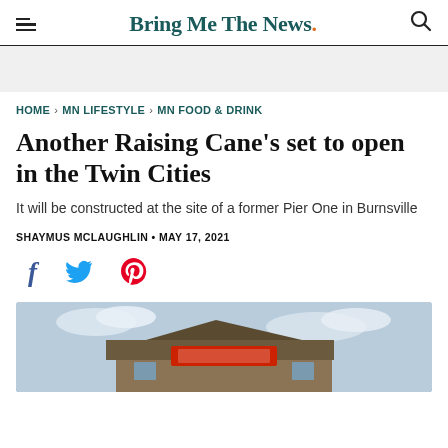Bring Me The News.
HOME > MN LIFESTYLE > MN FOOD & DRINK
Another Raising Cane's set to open in the Twin Cities
It will be constructed at the site of a former Pier One in Burnsville
SHAYMUS MCLAUGHLIN • MAY 17, 2021
[Figure (other): Social media share icons: Facebook, Twitter, Pinterest]
[Figure (photo): Exterior photo of a Raising Cane's restaurant building, brick facade, cloudy sky]